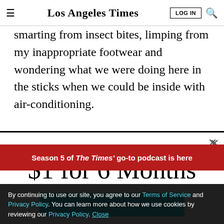Los Angeles Times
smarting from insect bites, limping from my inappropriate footwear and wondering what we were doing here in the sticks when we could be inside with air-conditioning.
LIMITED-TIME OFFER
$1 for 6 Months
SUBSCRIBE NOW
By continuing to use our site, you agree to our Terms of Service and Privacy Policy. You can learn more about how we use cookies by reviewing our Privacy Policy. Close
Season 5 of The Times' go-to podcast is here